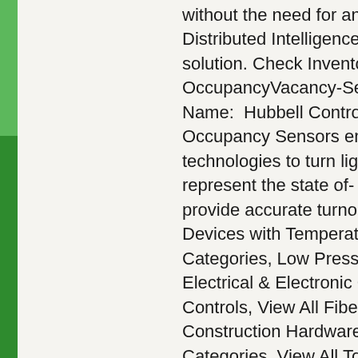without the need for any programming. Distributed Intelligence™ platform solution. Check Inventory. https://OccupancyVacancy-Sensors/p/22 Name: Hubbell Control Solution's Occupancy Sensors employ Passive technologies to turn lighting on and represent the state of- the-art in s provide accurate turnon while virtually Devices with Temperature Sensing Categories, Low Pressure Hydraulic Electrical & Electronic Categories Controls, View All Fiber Splice Closure Construction Hardware Categories, Categories, View All Tools, Dies & Wire/Cable/Hose Management Ca Conversion Categories, View All C Categories, View All Grounding and Connectors and Terminals Categories, View All Residential C Commercial Outdoor Lighting Cat